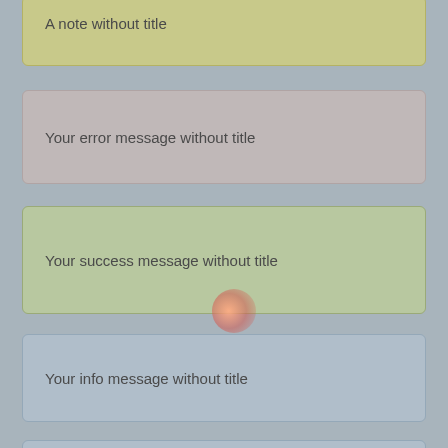A note without title
Your error message without title
Your success message without title
Your info message without title
An attention message without title